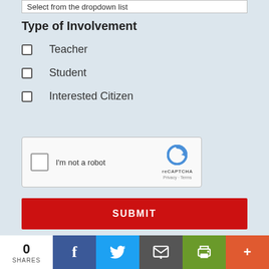Select from the dropdown list
Type of Involvement
Teacher
Student
Interested Citizen
[Figure (screenshot): reCAPTCHA widget with checkbox 'I'm not a robot', reCAPTCHA logo, Privacy and Terms links]
SUBMIT
MAILING ADDRESS
0 SHARES
[Figure (infographic): Social share bar with Facebook, Twitter, Email, Print, and More buttons]